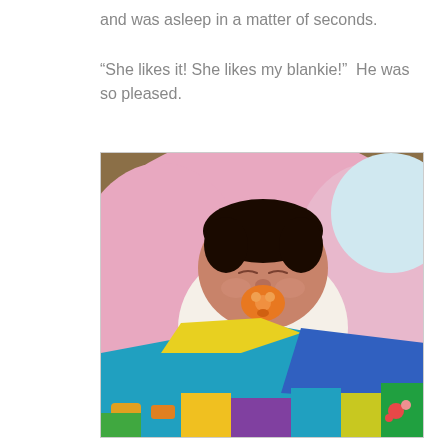and was asleep in a matter of seconds.
“She likes it! She likes my blankie!”  He was so pleased.
[Figure (photo): A newborn baby sleeping with a pacifier in its mouth, wrapped in a pink blanket, with a colorful patchwork blanket (teal, yellow, blue, multicolored with cartoon vehicles) in the foreground.]